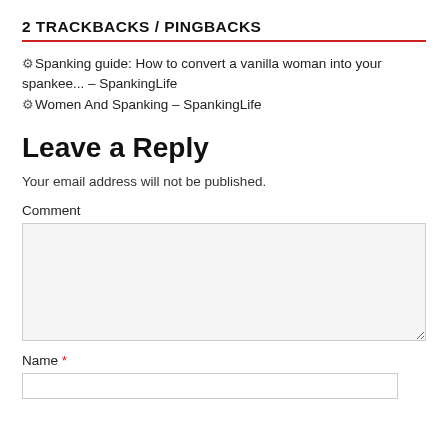2 TRACKBACKS / PINGBACKS
Spanking guide: How to convert a vanilla woman into your spankee... – SpankingLife
Women And Spanking – SpankingLife
Leave a Reply
Your email address will not be published.
Comment
Name *